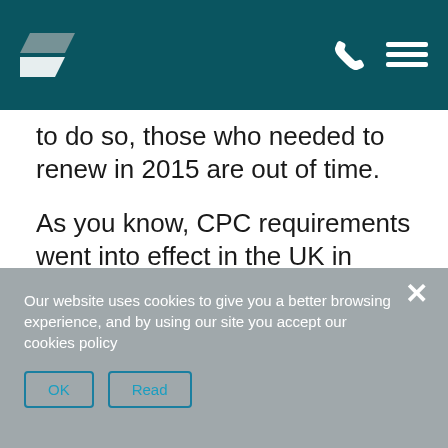Header bar with logo and navigation icons
to do so, those who needed to renew in 2015 are out of time.
As you know, CPC requirements went into effect in the UK in 2008. All new PCV drivers began receiving their initial CPC qualification instruction to earn their first licences in that year. New HGV drivers followed the year after. Any PCV or HGV driver who first obtained a commercial driving licence in 2010 would have
Our website uses cookies to give you a better browsing experience, and by using our site you accept our cookies policy